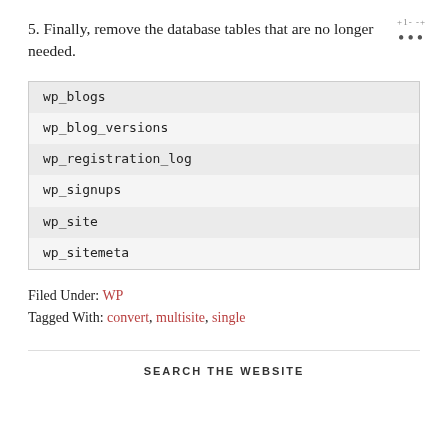5. Finally, remove the database tables that are no longer needed.
| wp_blogs |
| wp_blog_versions |
| wp_registration_log |
| wp_signups |
| wp_site |
| wp_sitemeta |
Filed Under: WP
Tagged With: convert, multisite, single
SEARCH THE WEBSITE